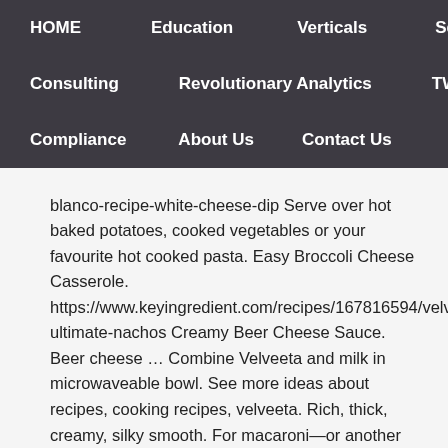HOME   Education   Verticals   Services
Consulting   Revolutionary Analytics   TWYNE
Compliance   About Us   Contact Us
blanco-recipe-white-cheese-dip Serve over hot baked potatoes, cooked vegetables or your favourite hot cooked pasta. Easy Broccoli Cheese Casserole. https://www.keyingredient.com/recipes/167816594/velveeta-ultimate-nachos Creamy Beer Cheese Sauce. Beer cheese … Combine Velveeta and milk in microwaveable bowl. See more ideas about recipes, cooking recipes, velveeta. Rich, thick, creamy, silky smooth. For macaroni—or another type of pasta—and cheese for four, use about 8 ounces of macaroni and double this cheese sauce recipe.Toss the hot cooked and drained pasta